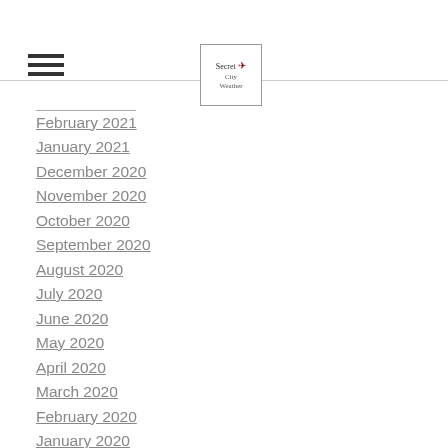Secret City Weather
February 2021
January 2021
December 2020
November 2020
October 2020
September 2020
August 2020
July 2020
June 2020
May 2020
April 2020
March 2020
February 2020
January 2020
December 2019
November 2019
October 2019
September 2019